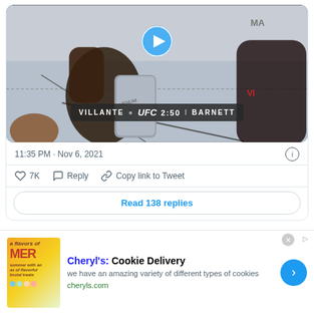[Figure (screenshot): UFC fight video thumbnail showing two fighters, with play button overlay. Score banner reads: VILLANTE | UFC 2:50 | BARNETT]
11:35 PM · Nov 6, 2021
7K   Reply   Copy link to Tweet
Read 138 replies
[Figure (screenshot): Advertisement for Cheryl's Cookie Delivery. Ad image shows summer cookies. Title: Cheryl's: Cookie Delivery. Description: we have an amazing variety of different types of cookies. URL: cheryls.com]